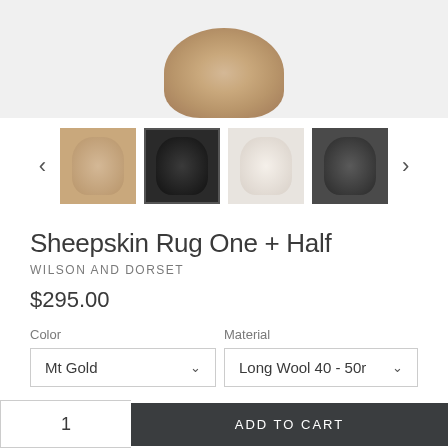[Figure (photo): Main product image of a sheepskin rug shown from above on a light gray background, in a golden/beige color]
[Figure (photo): Row of four thumbnail images of sheepskin rugs in different colors: beige/gold, black, white/cream, dark gray. Navigation arrows on left and right sides.]
Sheepskin Rug One + Half
WILSON AND DORSET
$295.00
Color
Mt Gold
Material
Long Wool 40 - 50r
Quantity
1
ADD TO CART